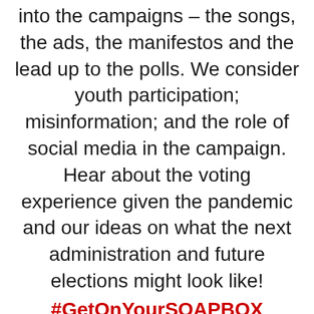into the campaigns – the songs, the ads, the manifestos and the lead up to the polls. We consider youth participation; misinformation; and the role of social media in the campaign. Hear about the voting experience given the pandemic and our ideas on what the next administration and future elections might look like!
#GetOnYourSOAPBOX
Look out for the videocast on Facebook and Youtube!
Elections2020YouthPoliticsTrinidadandTobagoResults2020SOAPBOXRelease date:14